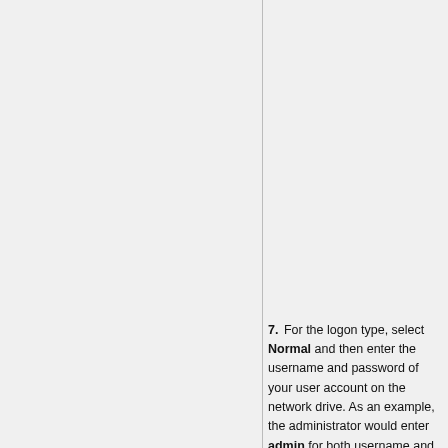[Figure (screenshot): Partial screenshot of a site manager or bookmark manager dialog showing a white list area and three rows of buttons: 'New Site'/'New Fold...', 'New Bookmark'/'Renam...', 'Delete'/'Copy', and a 'Co...' button at the bottom right.]
7. For the logon type, select Normal and then enter the username and password of your user account on the network drive. As an example, the administrator would enter admin for both username and